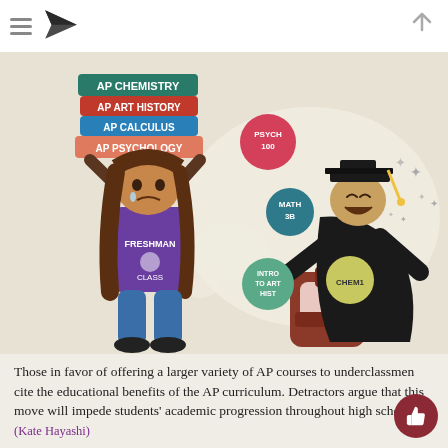[Figure (illustration): Cartoon illustration showing two characters: on the left, a crying freshman student in a purple shirt labeled 'FRESHMAN CLASS' holding up a stack of AP books (AP Chemistry, AP Art History, AP Calculus, AP Psychology) over their head with a backpack on the ground; on the right, a happy graduate in black cap and gown celebrating with floating college course bubbles (Psych 100, Math 3B, Intro to Art Hist, Chem1).]
Those in favor of offering a larger variety of AP courses to underclassmen cite the educational benefits of the AP curriculum. Detractors argue that this move will impede students' academic progression throughout high school. (Kate Hayashi)